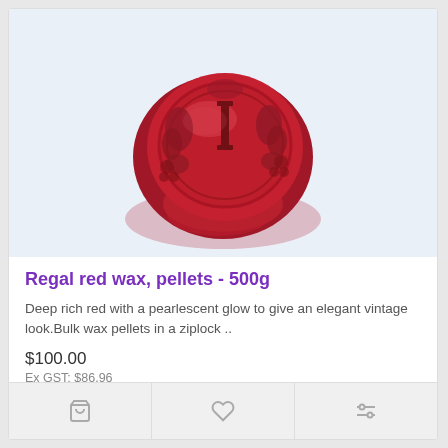[Figure (photo): Red wax seal with decorative letter I embossed, surrounded by floral patterns, on a light blue-white background]
Regal red wax, pellets - 500g
Deep rich red with a pearlescent glow to give an elegant vintage look.Bulk wax pellets in a ziplock ..
$100.00
Ex GST: $86.96